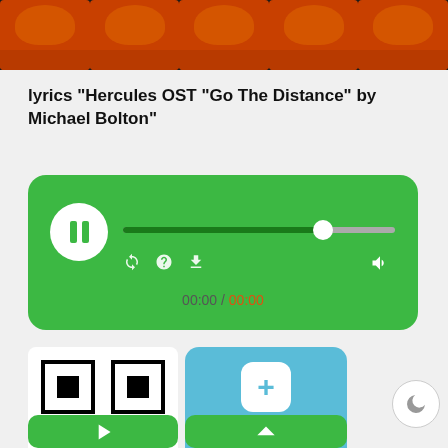[Figure (photo): Top banner with orange/brown toned face images against dark background]
lyrics "Hercules OST "Go The Distance" by Michael Bolton"
[Figure (other): Green audio player widget showing pause button, progress bar, control icons, and time display 00:00 / 00:00]
[Figure (other): QR code image in white box]
[Figure (other): Teal 'Add songs to your playlist' button with white plus icon]
[Figure (other): Moon/night mode circular button]
[Figure (other): Green button with right arrow icon at bottom left]
[Figure (other): Green button with up arrow icon at bottom right]